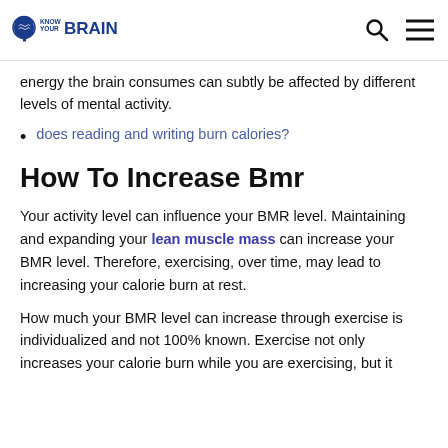Know Your Brain
energy the brain consumes can subtly be affected by different levels of mental activity.
does reading and writing burn calories?
How To Increase Bmr
Your activity level can influence your BMR level. Maintaining and expanding your lean muscle mass can increase your BMR level. Therefore, exercising, over time, may lead to increasing your calorie burn at rest.
How much your BMR level can increase through exercise is individualized and not 100% known. Exercise not only increases your calorie burn while you are exercising, but it